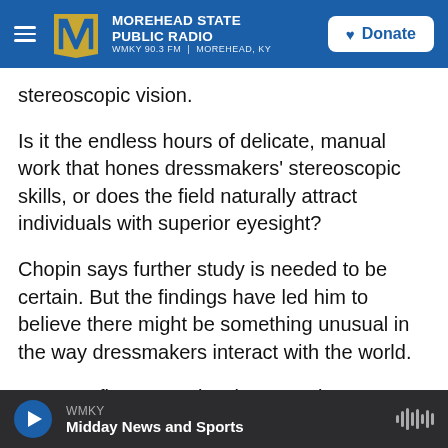MOREHEAD STATE PUBLIC RADIO | WMKY 90.3 FM | MOREHEAD, KY | Donate
stereoscopic vision.
Is it the endless hours of delicate, manual work that hones dressmakers' stereoscopic skills, or does the field naturally attract individuals with superior eyesight?
Chopin says further study is needed to be certain. But the findings have led him to believe there might be something unusual in the way dressmakers interact with the world.
"It's very fine manual tasks — at close range, with
WMKY | Midday News and Sports